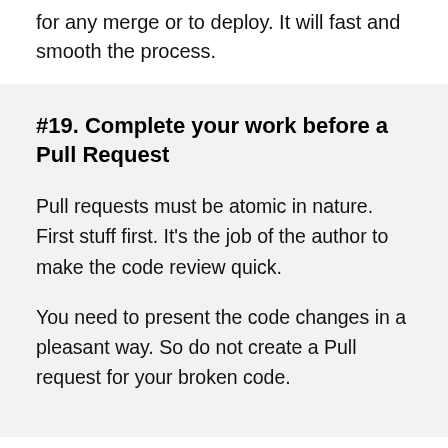for any merge or to deploy. It will fast and smooth the process.
#19. Complete your work before a Pull Request
Pull requests must be atomic in nature. First stuff first. It's the job of the author to make the code review quick.
You need to present the code changes in a pleasant way. So do not create a Pull request for your broken code.